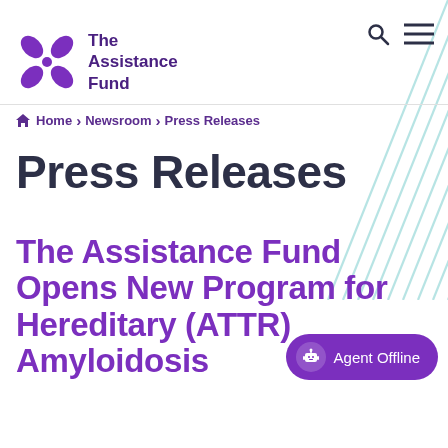The Assistance Fund
Home > Newsroom > Press Releases
Press Releases
The Assistance Fund Opens New Program for Hereditary (ATTR) Amyloidosis
Agent Offline